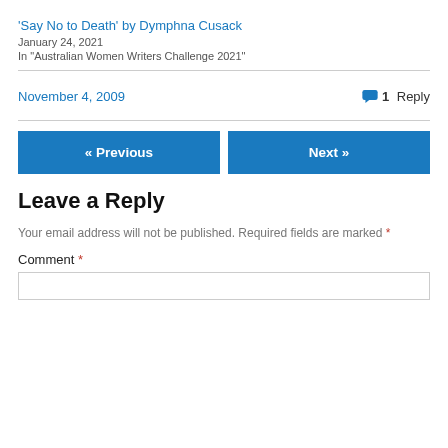'Say No to Death' by Dymphna Cusack
January 24, 2021
In "Australian Women Writers Challenge 2021"
November 4, 2009
1 Reply
« Previous
Next »
Leave a Reply
Your email address will not be published. Required fields are marked *
Comment *